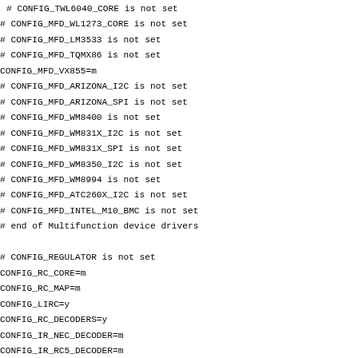# CONFIG_TWL6040_CORE is not set
# CONFIG_MFD_WL1273_CORE is not set
# CONFIG_MFD_LM3533 is not set
# CONFIG_MFD_TQMX86 is not set
CONFIG_MFD_VX855=m
# CONFIG_MFD_ARIZONA_I2C is not set
# CONFIG_MFD_ARIZONA_SPI is not set
# CONFIG_MFD_WM8400 is not set
# CONFIG_MFD_WM831X_I2C is not set
# CONFIG_MFD_WM831X_SPI is not set
# CONFIG_MFD_WM8350_I2C is not set
# CONFIG_MFD_WM8994 is not set
# CONFIG_MFD_ATC260X_I2C is not set
# CONFIG_MFD_INTEL_M10_BMC is not set
# end of Multifunction device drivers

# CONFIG_REGULATOR is not set
CONFIG_RC_CORE=m
CONFIG_RC_MAP=m
CONFIG_LIRC=y
CONFIG_RC_DECODERS=y
CONFIG_IR_NEC_DECODER=m
CONFIG_IR_RC5_DECODER=m
CONFIG_IR_RC6_DECODER=m
CONFIG_IR_JVC_DECODER=m
CONFIG_IR_SONY_DECODER=m
CONFIG_IR_SANYO_DECODER=m
# CONFIG_IR_SHARP_DECODER is not set
CONFIG_IR_MCE_KBD_DECODER=m
# CONFIG_IR_XMP_DECODER is not set